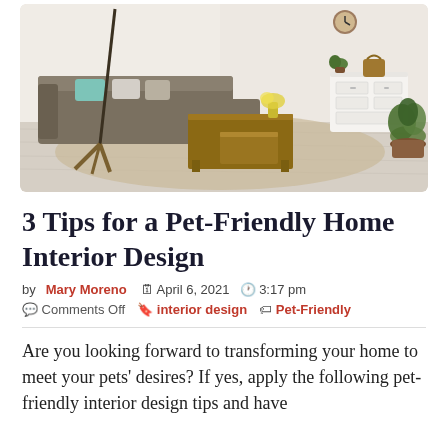[Figure (photo): Interior living room photo showing a grey sectional sofa with teal pillow, wooden coffee tables, a floor lamp, white brick wall, white dresser, and potted plant on light hardwood floors with a beige rug.]
3 Tips for a Pet-Friendly Home Interior Design
by Mary Moreno  📅 April 6, 2021  🕐 3:17 pm
💬 Comments Off  🔖 interior design  🏷 Pet-Friendly
Are you looking forward to transforming your home to meet your pets' desires? If yes, apply the following pet-friendly interior design tips and have